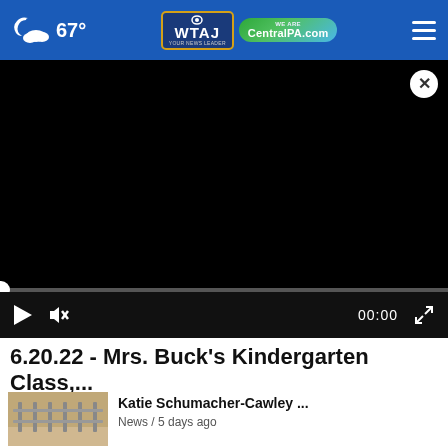67° WTAJ CentralPA.com
[Figure (screenshot): Black video player with close button (×), progress bar at zero, play button, mute icon, timestamp 00:00, and fullscreen icon]
6.20.22 - Mrs. Buck's Kindergarten Class,...
[Figure (photo): Thumbnail image of outdoor fence/structure scene]
Katie Schumacher-Cawley ...
News / 5 days ago